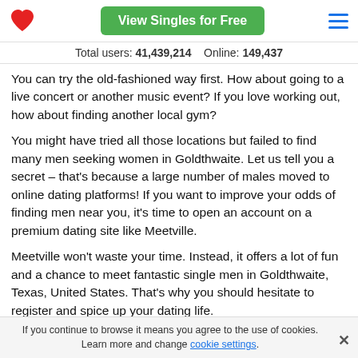View Singles for Free
Total users: 41,439,214    Online: 149,437
You can try the old-fashioned way first. How about going to a live concert or another music event? If you love working out, how about finding another local gym?
You might have tried all those locations but failed to find many men seeking women in Goldthwaite. Let us tell you a secret – that's because a large number of males moved to online dating platforms! If you want to improve your odds of finding men near you, it's time to open an account on a premium dating site like Meetville.
Meetville won't waste your time. Instead, it offers a lot of fun and a chance to meet fantastic single men in Goldthwaite, Texas, United States. That's why you should hesitate to register and spice up your dating life.
What is the best way to meet a husband in Goldthwaite?
If you continue to browse it means you agree to the use of cookies. Learn more and change cookie settings.